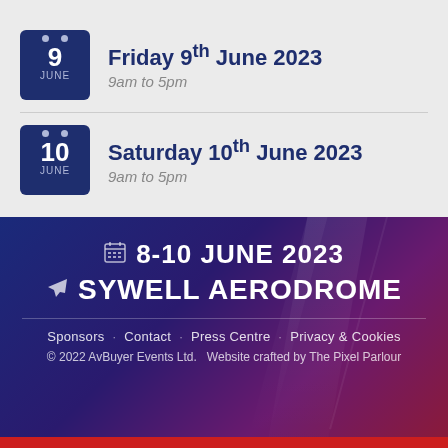Friday 9th June 2023 — 9am to 5pm
Saturday 10th June 2023 — 9am to 5pm
🗓 8-10 JUNE 2023
✈ SYWELL AERODROME
Sponsors · Contact · Press Centre · Privacy & Cookies
© 2022 AvBuyer Events Ltd.   Website crafted by The Pixel Parlour
Buy your Discount Entry Tickets Now >